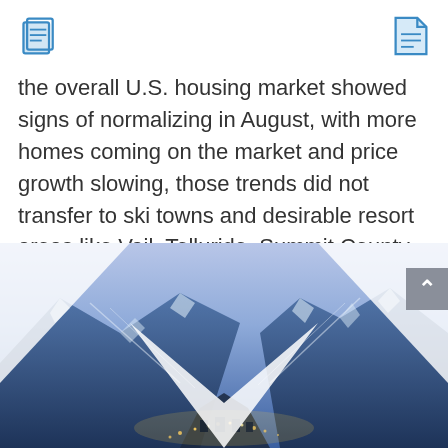[book icon] [document icon]
the overall U.S. housing market showed signs of normalizing in August, with more homes coming on the market and price growth slowing, those trends did not transfer to ski towns and desirable resort areas like Vail, Telluride, Summit County, Grand County and Crested Butte.
READ FULL ARTICLE
[Figure (photo): Aerial nighttime/dusk photo of a ski resort town nestled in snowy mountains, with blue-hued slopes and twinkling town lights. White diamond/chevron graphic overlay on the image.]